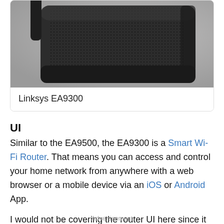[Figure (photo): Close-up photo of a Linksys EA9300 router, dark black mesh body, seen from a side/top angle]
Linksys EA9300
UI
Similar to the EA9500, the EA9300 is a Smart Wi-Fi Router. That means you can access and control your home network from anywhere with a web browser or a mobile device via an iOS or Android App.
I would not be covering the router UI here since it is the same across all the latest Linksys router that I reviewed.
Advertisement